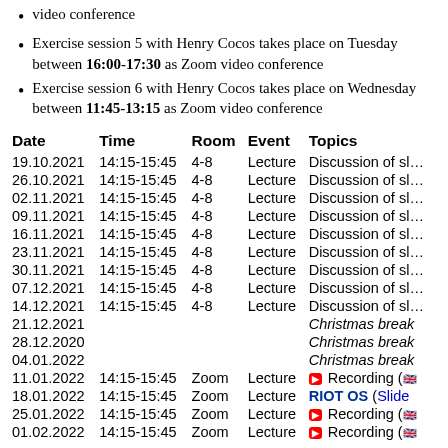video conference
Exercise session 5 with Henry Cocos takes place on Tuesday between 16:00-17:30 as Zoom video conference
Exercise session 6 with Henry Cocos takes place on Wednesday between 11:45-13:15 as Zoom video conference
| Date | Time | Room | Event | Topics |
| --- | --- | --- | --- | --- |
| 19.10.2021 | 14:15-15:45 | 4-8 | Lecture | Discussion of sl… |
| 26.10.2021 | 14:15-15:45 | 4-8 | Lecture | Discussion of sl… |
| 02.11.2021 | 14:15-15:45 | 4-8 | Lecture | Discussion of sl… |
| 09.11.2021 | 14:15-15:45 | 4-8 | Lecture | Discussion of sl… |
| 16.11.2021 | 14:15-15:45 | 4-8 | Lecture | Discussion of sl… |
| 23.11.2021 | 14:15-15:45 | 4-8 | Lecture | Discussion of sl… |
| 30.11.2021 | 14:15-15:45 | 4-8 | Lecture | Discussion of sl… |
| 07.12.2021 | 14:15-15:45 | 4-8 | Lecture | Discussion of sl… |
| 14.12.2021 | 14:15-15:45 | 4-8 | Lecture | Discussion of sl… |
| 21.12.2021 |  |  |  | Christmas break |
| 28.12.2020 |  |  |  | Christmas break |
| 04.01.2022 |  |  |  | Christmas break |
| 11.01.2022 | 14:15-15:45 | Zoom | Lecture | Recording (… |
| 18.01.2022 | 14:15-15:45 | Zoom | Lecture | RIOT OS (Slide… |
| 25.01.2022 | 14:15-15:45 | Zoom | Lecture | Recording (… |
| 01.02.2022 | 14:15-15:45 | Zoom | Lecture | Recording (… |